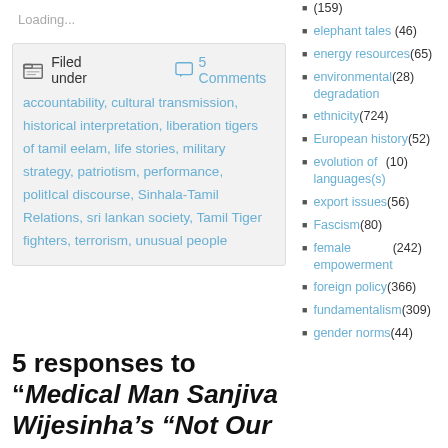Loading...
Filed under   5 Comments
accountability, cultural transmission, historical interpretation, liberation tigers of tamil eelam, life stories, military strategy, patriotism, performance, politIcal discourse, Sinhala-Tamil Relations, sri lankan society, Tamil Tiger fighters, terrorism, unusual people
5 responses to “Medical Man Sanjiva Wijesinha’s “Not Our
(159)
elephant tales (46)
energy resources (65)
environmental degradation (28)
ethnicity (724)
European history (52)
evolution of languages(s) (10)
export issues (56)
Fascism (80)
female empowerment (242)
foreign policy (366)
fundamentalism (309)
gender norms (44)